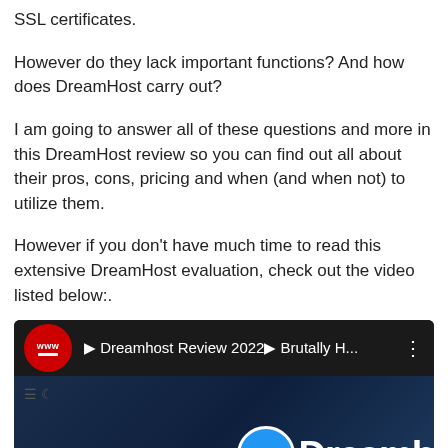SSL certificates.
However do they lack important functions? And how does DreamHost carry out?
I am going to answer all of these questions and more in this DreamHost review so you can find out all about their pros, cons, pricing and when (and when not) to utilize them.
However if you don't have much time to read this extensive DreamHost evaluation, check out the video listed below:.
[Figure (screenshot): YouTube video thumbnail showing 'Dreamhost Review 2022 Brutally H...' with a red circular www icon on the left, black top bar, and a dark blue background with the DreamHost logo (blue circle and white text) visible in the lower right.]